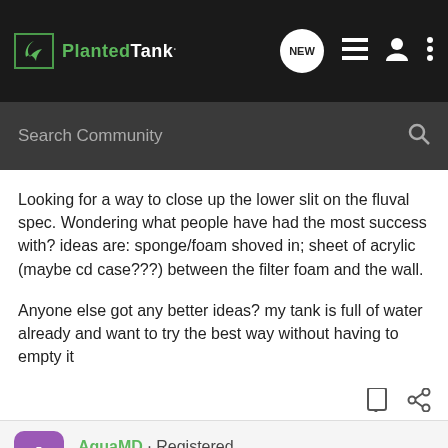PlantedTank — NEW (navigation icons)
Search Community
Looking for a way to close up the lower slit on the fluval spec. Wondering what people have had the most success with? ideas are: sponge/foam shoved in; sheet of acrylic (maybe cd case???) between the filter foam and the wall.

Anyone else got any better ideas? my tank is full of water already and want to try the best way without having to empty it
AquaMD · Registered
Joined Nov 29, 2012 · 28 Posts
#15 · Jul 11, 2014